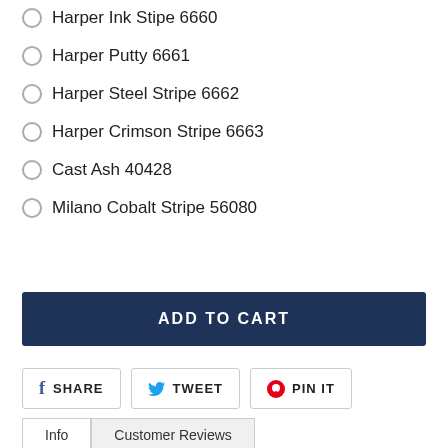Harper Ink Stipe 6660
Harper Putty 6661
Harper Steel Stripe 6662
Harper Crimson Stripe 6663
Cast Ash 40428
Milano Cobalt Stripe 56080
ADD TO CART
SHARE
TWEET
PIN IT
Info
Customer Reviews